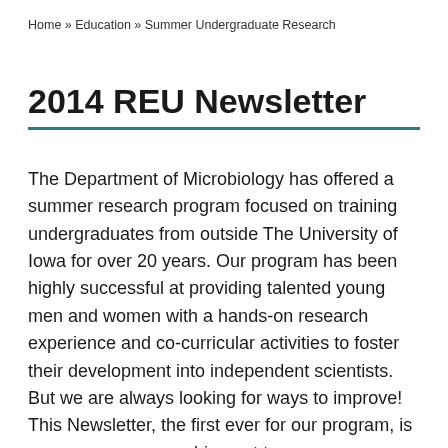Home » Education » Summer Undergraduate Research
2014 REU Newsletter
The Department of Microbiology has offered a summer research program focused on training undergraduates from outside The University of Iowa for over 20 years. Our program has been highly successful at providing talented young men and women with a hands-on research experience and co-curricular activities to foster their development into independent scientists. But we are always looking for ways to improve! This Newsletter, the first ever for our program, is one way we are reaching out to our program alumni an others who may be interested in our REU. We hope you will